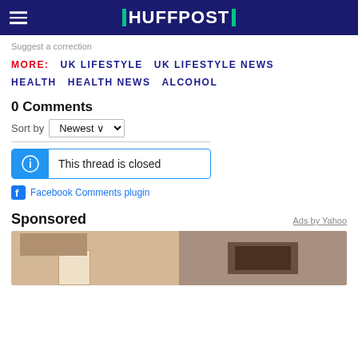HUFFPOST
Suggest a correction
MORE: UK LIFESTYLE UK LIFESTYLE NEWS HEALTH HEALTH NEWS ALCOHOL
0 Comments
Sort by Newest
This thread is closed
Facebook Comments plugin
Sponsored
Ads by Yahoo
[Figure (photo): Advertisement image showing interior room with door and framed artwork]